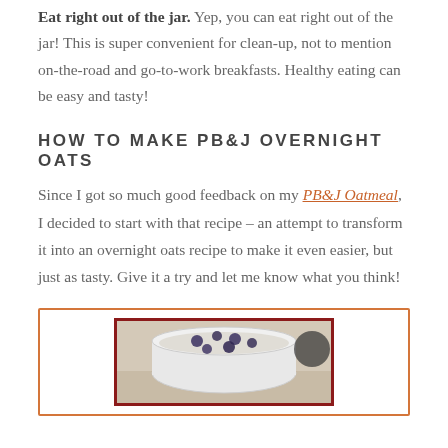Eat right out of the jar. Yep, you can eat right out of the jar! This is super convenient for clean-up, not to mention on-the-road and go-to-work breakfasts. Healthy eating can be easy and tasty!
HOW TO MAKE PB&J OVERNIGHT OATS
Since I got so much good feedback on my PB&J Oatmeal, I decided to start with that recipe – an attempt to transform it into an overnight oats recipe to make it even easier, but just as tasty. Give it a try and let me know what you think!
[Figure (photo): Photo of a jar with overnight oats topped with blueberries, inside an orange-bordered box]